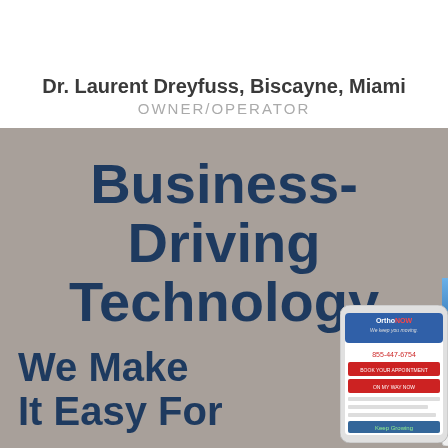Dr. Laurent Dreyfuss, Biscayne, Miami
OWNER/OPERATOR
Business-Driving Technology
[Figure (screenshot): OrthoNOW mobile app screenshot showing app interface with 'ON MY WAY NOW' button and navigation grid icons]
[Figure (screenshot): Smartphone showing OrthoNOW website with phone number 855-447-6754]
We Make It Easy For